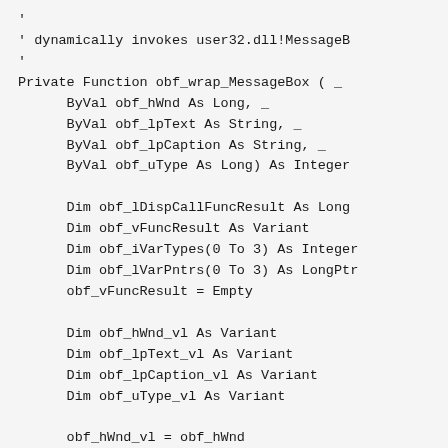' 
' dynamically invokes user32.dll!MessageB
'
Private Function obf_wrap_MessageBox ( _
    ByVal obf_hWnd As Long, _
    ByVal obf_lpText As String, _
    ByVal obf_lpCaption As String, _
    ByVal obf_uType As Long) As Integer

    Dim obf_lDispCallFuncResult As Long
    Dim obf_vFuncResult As Variant
    Dim obf_iVarTypes(0 To 3) As Integer
    Dim obf_lVarPntrs(0 To 3) As LongPtr
    obf_vFuncResult = Empty

    Dim obf_hWnd_vl As Variant
    Dim obf_lpText_vl As Variant
    Dim obf_lpCaption_vl As Variant
    Dim obf_uType_vl As Variant

    obf_hWnd_vl = obf_hWnd
    obf_lpText_vl = StrConv(obf_lpText_vl
    obf_lpCaption_vl = StrConv(obf_lpC...